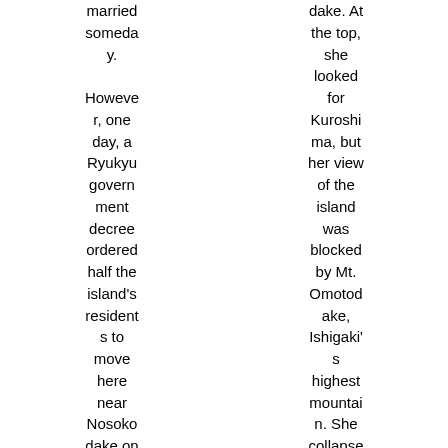married someday. However, one day, a Ryukyu government decree ordered half the island's residents to move here near Nosokodake on Ishigaki
dake. At the top, she looked for Kuroshima, but her view of the island was blocked by Mt. Omotodake, Ishigaki's highest mountain. She collapsed